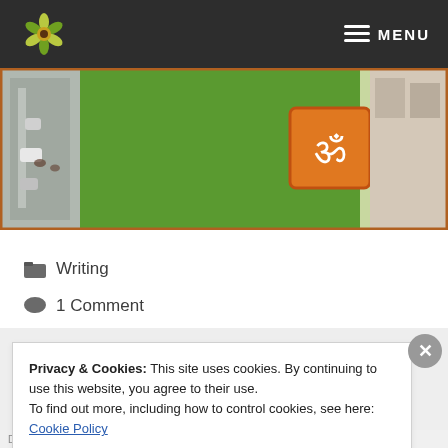MENU
[Figure (photo): Aerial view of a property with an orange sign featuring an Om symbol, green lawn, parked cars, and buildings]
Writing
1 Comment
Privacy & Cookies: This site uses cookies. By continuing to use this website, you agree to their use.
To find out more, including how to control cookies, see here: Cookie Policy
Close and accept